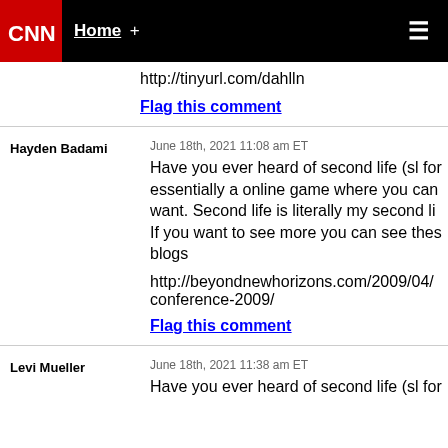CNN — Home +
http://tinyurl.com/dahlln
Flag this comment
Hayden Badami — June 18th, 2021 11:08 am ET — Have you ever heard of second life (sl for... essentially a online game where you can... want. Second life is literally my second li... If you want to see more you can see thes... blogs

http://beyondnewhorizons.com/2009/04/...conference-2009/

Flag this comment
Levi Mueller — June 18th, 2021 11:38 am ET — Have you ever heard of second life (sl for...